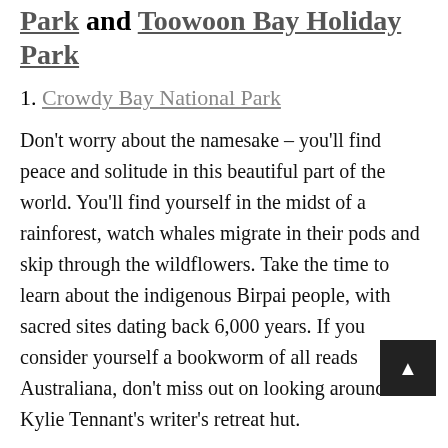Park and Toowoon Bay Holiday Park
1. Crowdy Bay National Park
Don't worry about the namesake – you'll find peace and solitude in this beautiful part of the world. You'll find yourself in the midst of a rainforest, watch whales migrate in their pods and skip through the wildflowers. Take the time to learn about the indigenous Birpai people, with sacred sites dating back 6,000 years. If you consider yourself a bookworm of all reads Australiana, don't miss out on looking around Kylie Tennant's writer's retreat hut.